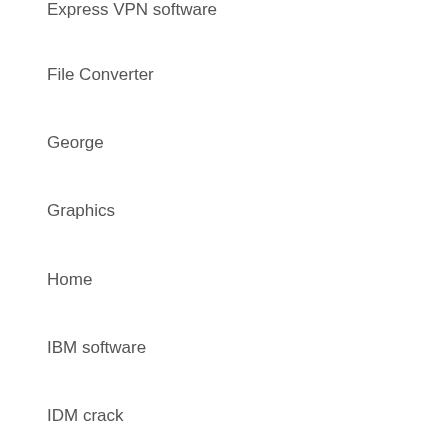Express VPN software
File Converter
George
Graphics
Home
IBM software
IDM crack
Internet
ISO
License Key
mac
Mac / Software / Windows